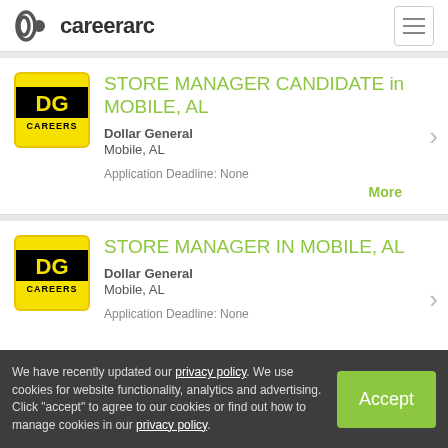careerarc
STORE MANAGER CANDIDATE in MOBILE, AL — Dollar General, Mobile, AL — Application Deadline: None
STORE MANAGER IN MOBILE, AL — Dollar General, Mobile, AL — Application Deadline: None
We have recently updated our privacy policy. We use cookies for website functionality, analytics and advertising. Click "accept" to agree to our cookies or find out how to manage cookies in our privacy policy.